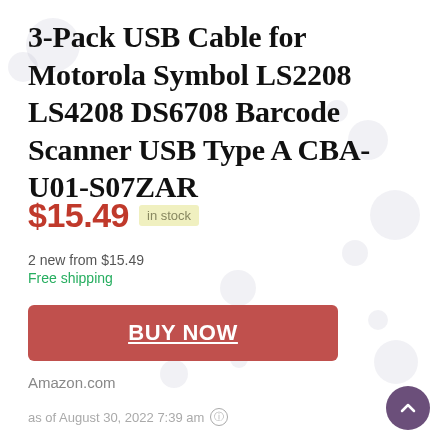3-Pack USB Cable for Motorola Symbol LS2208 LS4208 DS6708 Barcode Scanner USB Type A CBA-U01-S07ZAR
$15.49 in stock
2 new from $15.49
Free shipping
BUY NOW
Amazon.com
as of August 30, 2022 7:39 am ℹ